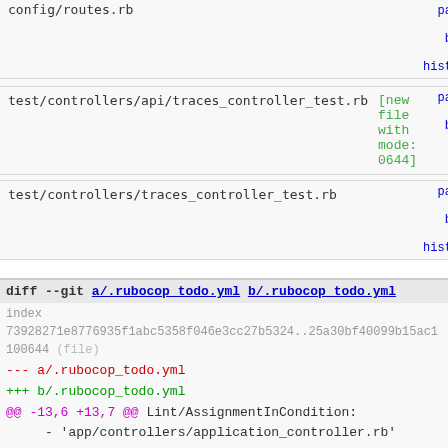| File | Status | Actions |
| --- | --- | --- |
| config/routes.rb |  | patch | blob | history |
| test/controllers/api/traces_controller_test.rb | [new file with mode: 0644] | patch | blob |
| test/controllers/traces_controller_test.rb |  | patch | blob | history |
diff --git a/.rubocop_todo.yml b/.rubocop_todo.yml
index 73928271e8776935f1abc5358f046e3cc27b5324..25a30bf40099b15ac1 100644 (file)
--- a/.rubocop_todo.yml
+++ b/.rubocop_todo.yml
@@ -13,6 +13,7 @@ Lint/AssignmentInCondition:
    - 'app/controllers/application_controller.rb'
    - 'app/controllers/geocoder_controller.rb'
    - 'app/controllers/notes_controller.rb'
+   - 'app/controllers/api/traces_controller.rb'
    - 'app/controllers/traces_controller.rb'
    - 'app/controllers/users_controller.rb'
    - 'app/controllers/api/user_preferences_controller.rb'